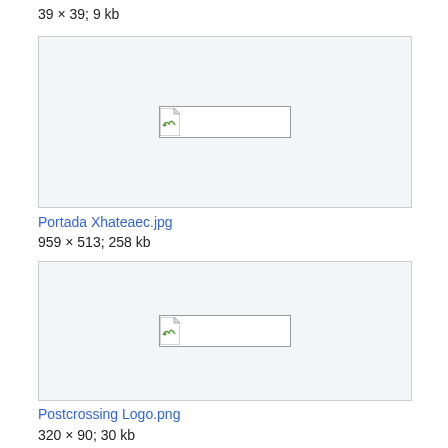39 × 39; 9 kb
[Figure (photo): Broken image placeholder for Portada Xhateaec.jpg]
Portada Xhateaec.jpg
959 × 513; 258 kb
[Figure (photo): Broken image placeholder for Postcrossing Logo.png]
Postcrossing Logo.png
320 × 90; 30 kb